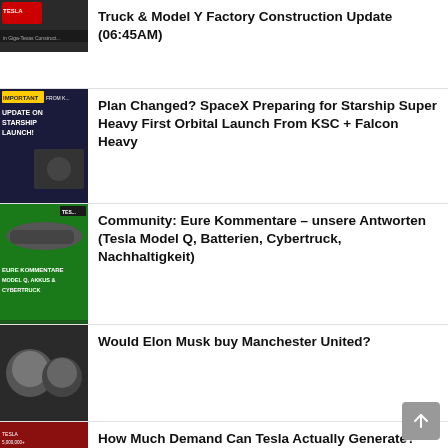Truck & Model Y Factory Construction Update (06:45AM)
Plan Changed? SpaceX Preparing for Starship Super Heavy First Orbital Launch From KSC + Falcon Heavy
Community: Eure Kommentare – unsere Antworten (Tesla Model Q, Batterien, Cybertruck, Nachhaltigkeit)
Would Elon Musk buy Manchester United?
How Much Demand Can Tesla Actually Generate?
SpaceX Falcon 9 Starlink Group 4-27 launch and landing